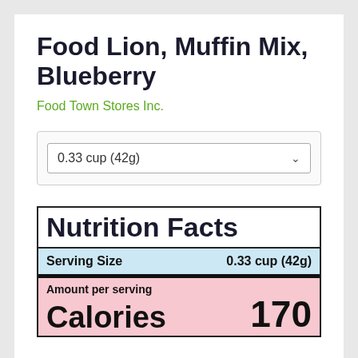Food Lion, Muffin Mix, Blueberry
Food Town Stores Inc.
0.33 cup (42g)
| Nutrition Facts |
| Serving Size | 0.33 cup (42g) |
| Amount per serving |  |
| Calories | 170 |